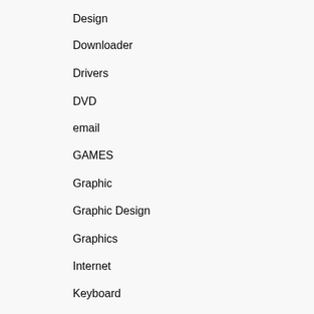Design
Downloader
Drivers
DVD
email
GAMES
Graphic
Graphic Design
Graphics
Internet
Keyboard